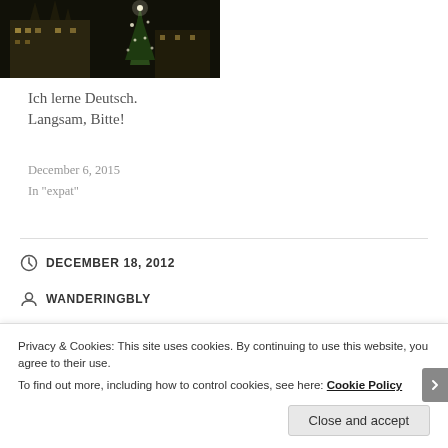[Figure (photo): Night photo of a building (likely Munich Marienplatz) with illuminated Christmas tree, dark background]
Ich lerne Deutsch. Langsam, Bitte!
December 6, 2015
In "expat"
DECEMBER 18, 2012
WANDERINGBLY
AMERICA, MUSINGS, POLITICS, SOAPBOX
Privacy & Cookies: This site uses cookies. By continuing to use this website, you agree to their use.
To find out more, including how to control cookies, see here: Cookie Policy